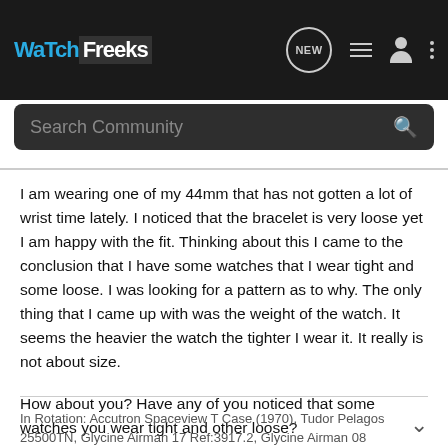WatchFreeks — NEW (icon) list (icon) person (icon) more (icon)
Search Community
I am wearing one of my 44mm that has not gotten a lot of wrist time lately. I noticed that the bracelet is very loose yet I am happy with the fit. Thinking about this I came to the conclusion that I have some watches that I wear tight and some loose. I was looking for a pattern as to why. The only thing that I came up with was the weight of the watch. It seems the heavier the watch the tighter I wear it. It really is not about size.
How about you? Have any of you noticed that some watches you wear tight and other loose?
In Rotation: Accutron Spaceview T Case (1970), Tudor Pelagos 25500TN, Glycine Airman 17 Ref:3917.2, Glycine Airman 08 Chrono